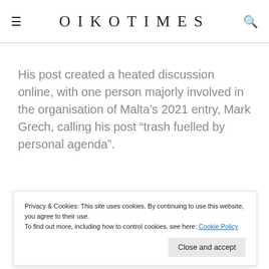OIKOTIMES
His post created a heated discussion online, with one person majorly involved in the organisation of Malta’s 2021 entry, Mark Grech, calling his post “trash fuelled by personal agenda”.
Galea, who had performed in the 2004 edition of the
Privacy & Cookies: This site uses cookies. By continuing to use this website, you agree to their use.
To find out more, including how to control cookies, see here: Cookie Policy
His post was shared by Valletta Cultural Agency